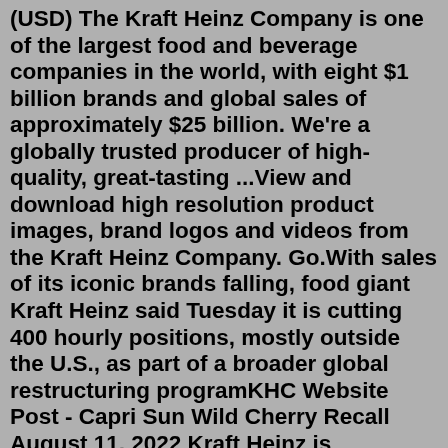(USD) The Kraft Heinz Company is one of the largest food and beverage companies in the world, with eight $1 billion brands and global sales of approximately $25 billion. We're a globally trusted producer of high-quality, great-tasting ...View and download high resolution product images, brand logos and videos from the Kraft Heinz Company. Go.With sales of its iconic brands falling, food giant Kraft Heinz said Tuesday it is cutting 400 hourly positions, mostly outside the U.S., as part of a broader global restructuring programKHC Website Post - Capri Sun Wild Cherry Recall August 11, 2022 Kraft Heinz is announcing a voluntary recall of approximately 5,760 cases of Capri Sun Wild Cherry Flavored Juice Drink Blend beverages. The voluntary recall comes after diluted cleaning solution, which is used on food processing equipment, was inadvertently introduced into a production line at one of our factories.The Kraft Heinz Company KHC posted second-quarter 2022 results, with the top and the bottom line